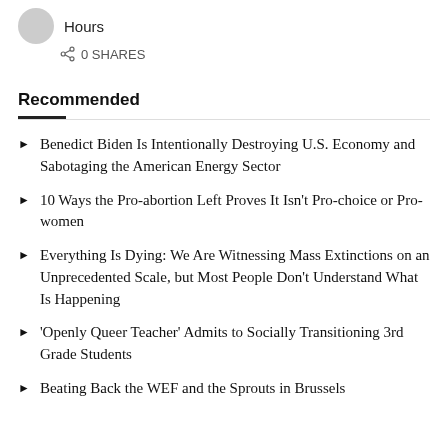Hours
0 SHARES
Recommended
Benedict Biden Is Intentionally Destroying U.S. Economy and Sabotaging the American Energy Sector
10 Ways the Pro-abortion Left Proves It Isn't Pro-choice or Pro-women
Everything Is Dying: We Are Witnessing Mass Extinctions on an Unprecedented Scale, but Most People Don't Understand What Is Happening
'Openly Queer Teacher' Admits to Socially Transitioning 3rd Grade Students
Beating Back the WEF and the Sprouts in Brussels